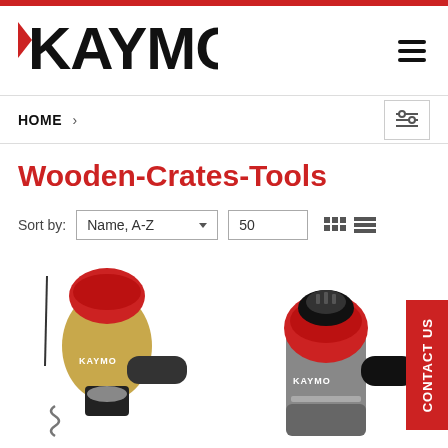[Figure (logo): KAYMO brand logo with red K accent]
HOME >
Wooden-Crates-Tools
Sort by: Name, A-Z | 50
[Figure (photo): Two KAYMO pneumatic nailer tools for wooden crates]
CONTACT US